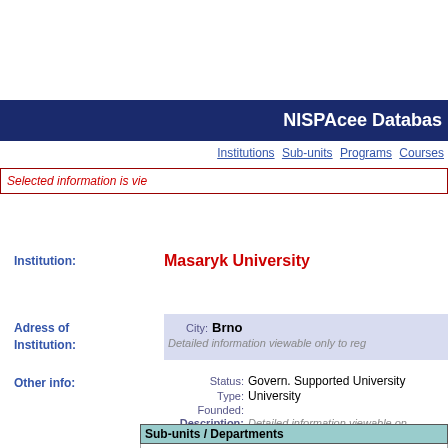NISPAcee Databas
Institutions Sub-units Programs Courses
Selected information is vie
Institution: Masaryk University
Adress of Institution: City: Brno Detailed information viewable only to reg
Other info: Status: Govern. Supported University Type: University Founded: Description: Detailed information viewable on
| Sub-units / Departments |
| --- |
| Dept. of Social Policy & Social Work, Faculty of Social S |